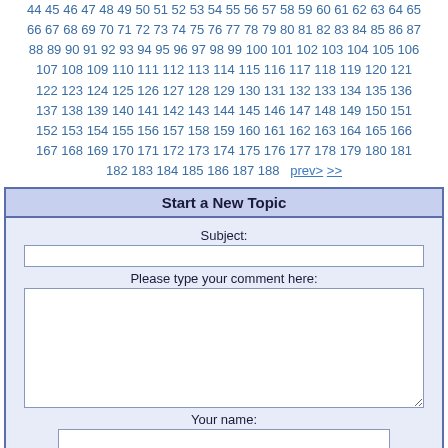44 45 46 47 48 49 50 51 52 53 54 55 56 57 58 59 60 61 62 63 64 65 66 67 68 69 70 71 72 73 74 75 76 77 78 79 80 81 82 83 84 85 86 87 88 89 90 91 92 93 94 95 96 97 98 99 100 101 102 103 104 105 106 107 108 109 110 111 112 113 114 115 116 117 118 119 120 121 122 123 124 125 126 127 128 129 130 131 132 133 134 135 136 137 138 139 140 141 142 143 144 145 146 147 148 149 150 151 152 153 154 155 156 157 158 159 160 161 162 163 164 165 166 167 168 169 170 171 172 173 174 175 176 177 178 179 180 181 182 183 184 185 186 187 188 prev> >>
Start a New Topic
Subject:
Please type your comment here:
Your name:
Your Email (optional):